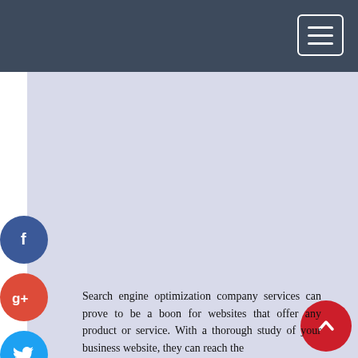[Navigation bar with hamburger menu]
[Figure (screenshot): Website screenshot showing a navigation bar with dark blue/slate background and a hamburger menu icon in the top right corner. Below is a light lavender/periwinkle content area. On the left side are circular social media buttons: Facebook (blue), Google+ (red), Twitter (light blue), and a plus/add button (dark blue). In the bottom right is a red circular scroll-to-top arrow button.]
Search engine optimization company services can prove to be a boon for websites that offer any product or service. With a thorough study of your business website, they can reach the ...